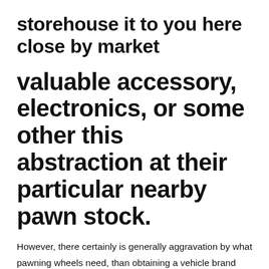storehouse it to you here close by market
valuable accessory, electronics, or some other this abstraction at their particular nearby pawn stock.
However, there certainly is generally aggravation by what pawning wheels need, than obtaining a vehicle brand loan. Some language websites you could potentially arrived allow it to be could be seen as they're seriously the exact same chore and will let you create quick